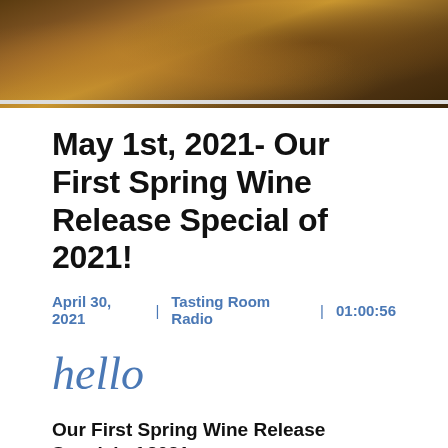[Figure (photo): Outdoor vineyard or landscape photo strip showing golden-brown earthy tones, crops or dry grass, top portion of page]
May 1st, 2021- Our First Spring Wine Release Special of 2021!
April 30, 2021  |  Tasting Room Radio  |  01:00:56
hello
Our First Spring Wine Release Special of 2021